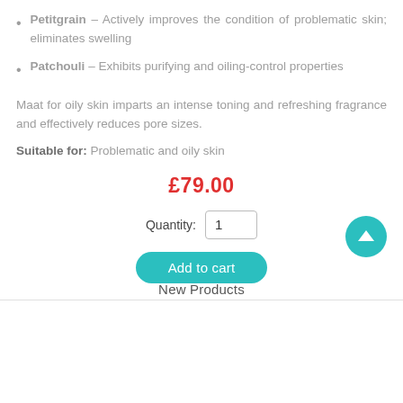Petitgrain – Actively improves the condition of problematic skin; eliminates swelling
Patchouli – Exhibits purifying and oiling-control properties
Maat for oily skin imparts an intense toning and refreshing fragrance and effectively reduces pore sizes.
Suitable for: Problematic and oily skin
£79.00
Quantity: 1
Add to cart
New Products